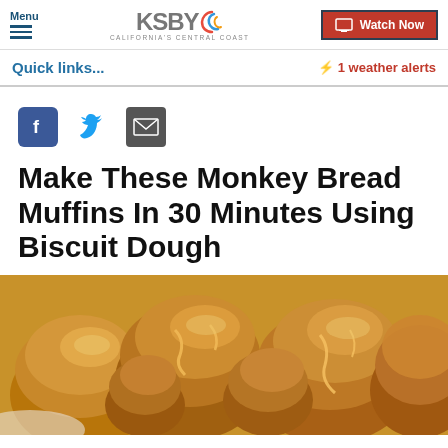Menu | KSBY California's Central Coast | Watch Now
Quick links...
⚡ 1 weather alerts
[Figure (screenshot): Facebook, Twitter, and Email social sharing icons]
Make These Monkey Bread Muffins In 30 Minutes Using Biscuit Dough
[Figure (photo): Close-up photo of monkey bread muffins with caramel glaze]